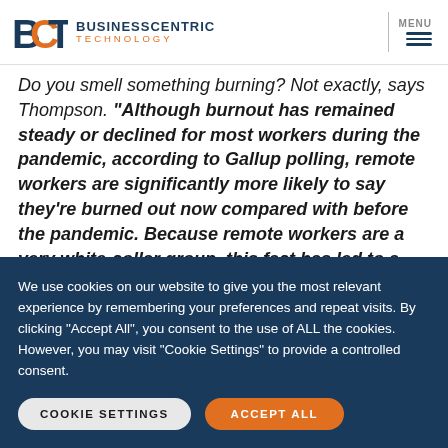BCT BUSINESSCENTRIC TECHNOLOGY | MENU
Do you smell something burning? Not exactly, says Thompson. “Although burnout has remained steady or declined for most workers during the pandemic, according to Gallup polling, remote workers are significantly more likely to say they’re burned out now compared with before the pandemic. Because remote workers are a very white-collar group, this fact has led to a great deal of news coverage claiming that the Great
We use cookies on our website to give you the most relevant experience by remembering your preferences and repeat visits. By clicking “Accept All”, you consent to the use of ALL the cookies. However, you may visit "Cookie Settings" to provide a controlled consent.
COOKIE SETTINGS    ACCEPT ALL